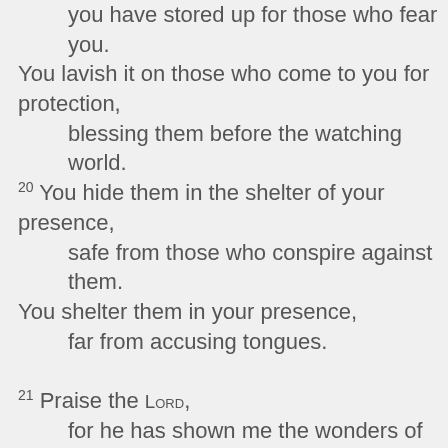you have stored up for those who fear you. You lavish it on those who come to you for protection,
    blessing them before the watching world.
20 You hide them in the shelter of your presence,
    safe from those who conspire against them.
You shelter them in your presence,
    far from accusing tongues.

21 Praise the LORD,
    for he has shown me the wonders of his unfailing love.
    He kept me safe when my city was under attack.
22 In panic I cried out,
    "I am cut off from the LORD!"
But you heard my cry for mercy